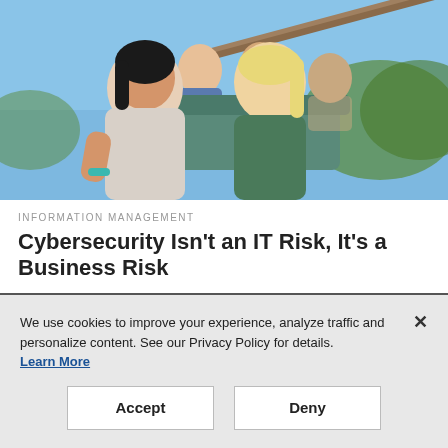[Figure (photo): People riding a rollercoaster, laughing and screaming with excitement. Two women in foreground, people behind them, blue sky and trees in background.]
INFORMATION MANAGEMENT
Cybersecurity Isn't an IT Risk, It's a Business Risk
We use cookies to improve your experience, analyze traffic and personalize content. See our Privacy Policy for details. Learn More
Accept
Deny